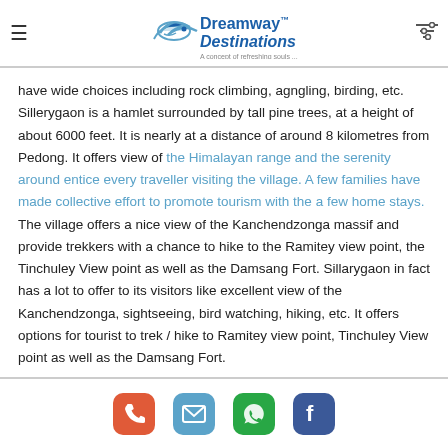Dreamway Destinations — A concept of refreshing souls...
have wide choices including rock climbing, agngling, birding, etc. Sillerygaon is a hamlet surrounded by tall pine trees, at a height of about 6000 feet. It is nearly at a distance of around 8 kilometres from Pedong. It offers view of the Himalayan range and the serenity around entice every traveller visiting the village. A few families have made collective effort to promote tourism with the a few home stays. The village offers a nice view of the Kanchendzonga massif and provide trekkers with a chance to hike to the Ramitey view point, the Tinchuley View point as well as the Damsang Fort. Sillarygaon in fact has a lot to offer to its visitors like excellent view of the Kanchendzonga, sightseeing, bird watching, hiking, etc. It offers options for tourist to trek / hike to Ramitey view point, Tinchuley View point as well as the Damsang Fort.
Phone | Email | WhatsApp | Facebook